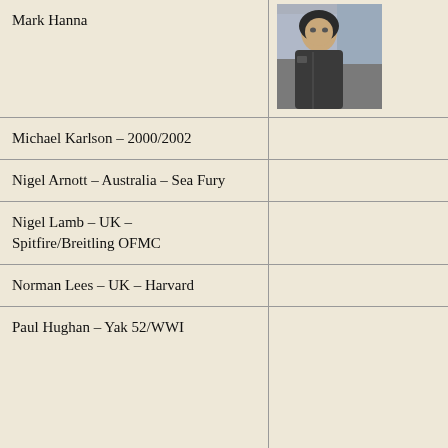| Name | Photo |
| --- | --- |
| Mark Hanna | [photo] |
| Michael Karlson – 2000/2002 |  |
| Nigel Arnott – Australia – Sea Fury |  |
| Nigel Lamb – UK – Spitfire/Breitling OFMC |  |
| Norman Lees – UK – Harvard |  |
| Paul Hughan – Yak 52/WWI |  |
| Paul 'Sticky' Strickland – L39 Albatros |  |